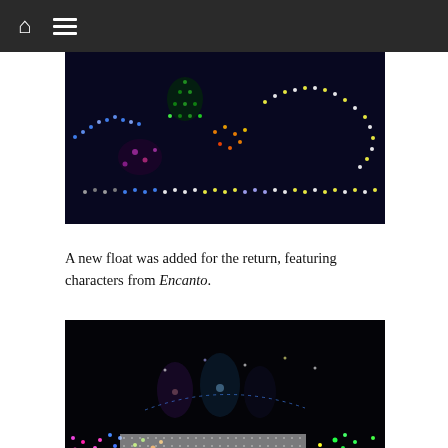Navigation bar with home and menu icons
[Figure (photo): Nighttime parade float covered in colorful LED lights including blue, green, purple, yellow, and white lights against a dark background]
A new float was added for the return, featuring characters from Encanto.
[Figure (photo): Nighttime parade float with performers/characters dressed in colorful costumes surrounded by multicolored LED lights; a watermark overlay is visible at the bottom]